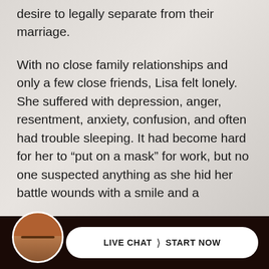desire to legally separate from their marriage.
With no close family relationships and only a few close friends, Lisa felt lonely. She suffered with depression, anger, resentment, anxiety, confusion, and often had trouble sleeping. It had become hard for her to “put on a mask” for work, but no one suspected anything as she hid her battle wounds with a smile and a